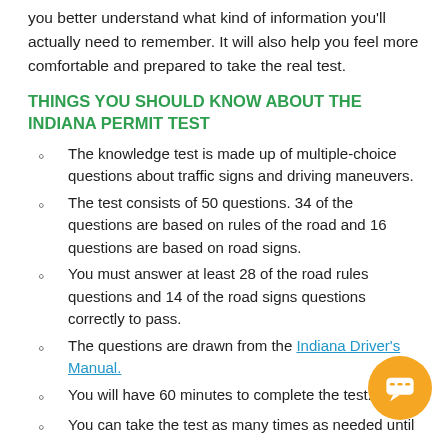you better understand what kind of information you'll actually need to remember. It will also help you feel more comfortable and prepared to take the real test.
THINGS YOU SHOULD KNOW ABOUT THE INDIANA PERMIT TEST
The knowledge test is made up of multiple-choice questions about traffic signs and driving maneuvers.
The test consists of 50 questions. 34 of the questions are based on rules of the road and 16 questions are based on road signs.
You must answer at least 28 of the road rules questions and 14 of the road signs questions correctly to pass.
The questions are drawn from the Indiana Driver's Manual.
You will have 60 minutes to complete the test.
You can take the test as many times as needed until